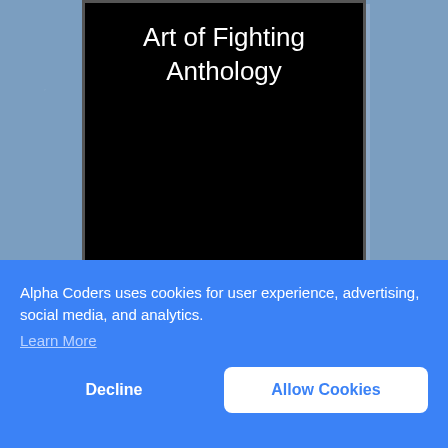[Figure (screenshot): Black card/panel showing the title 'Art of Fighting Anthology' in white text on black background, with blue shadow, on a steel-blue textured background]
[Figure (screenshot): Partially visible second black card/panel at the bottom of the content area]
Alpha Coders uses cookies for user experience, advertising, social media, and analytics.
Learn More
Decline
Allow Cookies